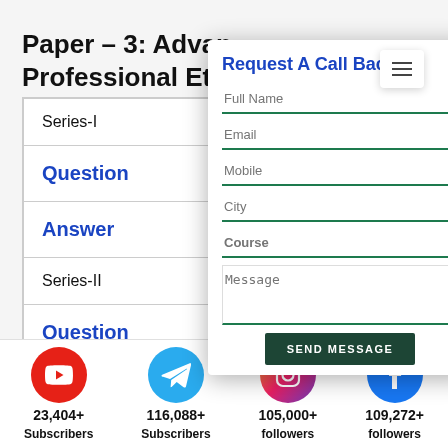Paper – 3: Advanced Auditing and Professional Ethics
| Series-I |  |
| Question |  |
| Answer |  |
| Series-II |  |
| Question |  |
[Figure (screenshot): Modal dialog 'Request A Call Back' with form fields: Full Name, Email, Mobile, City, Course, Message, and a SEND MESSAGE button. Has a blue X close button and a hamburger menu icon.]
23,404+ Subscribers
116,088+ Subscribers
105,000+ followers
109,272+ followers